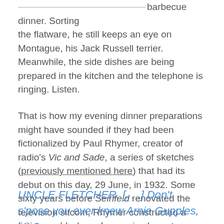barbecue dinner. Sorting the flatware, he still keeps an eye on Montague, his Jack Russell terrier. Meanwhile, the side dishes are being prepared in the kitchen and the telephone is ringing. Listen.
That is how my evening dinner preparations might have sounded if they had been fictionalized by Paul Rhymer, creator of radio's Vic and Sade, a series of sketches (previously mentioned here) that had its debut on this day, 29 June, in 1932. Some sixty years before Seinfeld renovated the television sitcom, Rhymer constructed a fictive world whose four main characters could truly go on about nothing like nobody else—without as much as a situation. Like this, for instance:
UNCLE FLETCHER. [. . .] Don't s'pose you ever knew Arnie Gupples, Vic?